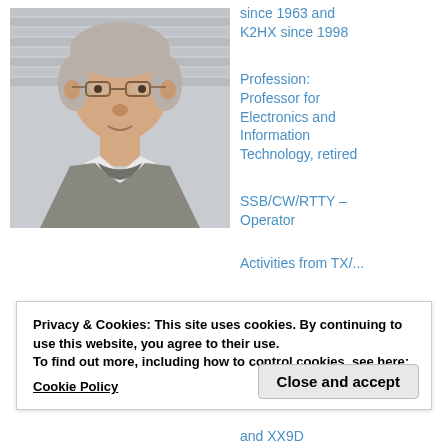[Figure (photo): Portrait photo of an elderly man with gray hair and glasses, wearing a gray sweater, against a light siding background]
since 1963 and K2HX since 1998
Profession: Professor for Electronics and Information Technology, retired
SSB/CW/RTTY – Operator
Activities from TX/...
Privacy & Cookies: This site uses cookies. By continuing to use this website, you agree to their use.
To find out more, including how to control cookies, see here:
Cookie Policy
Close and accept
and XX9D